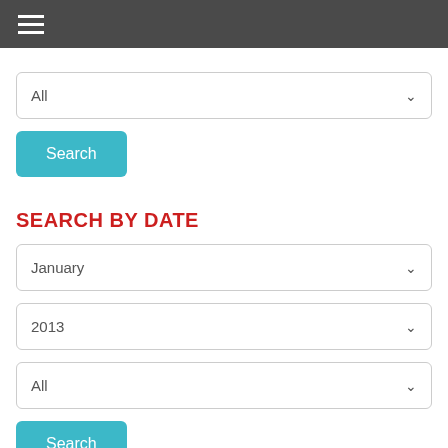Navigation menu (hamburger icon)
All (dropdown)
Search
SEARCH BY DATE
January (dropdown)
2013 (dropdown)
All (dropdown)
Search
TWEETS
Tweets from @JackyJilkins